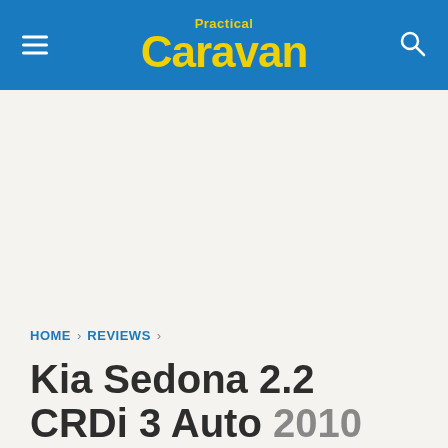Practical Caravan
HOME › REVIEWS ›
Kia Sedona 2.2 CRDi 3 Auto 2010